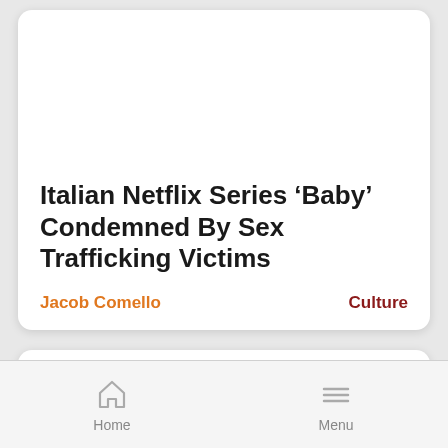Italian Netflix Series ‘Baby’ Condemned By Sex Trafficking Victims
Jacob Comello
Culture
Home   Menu